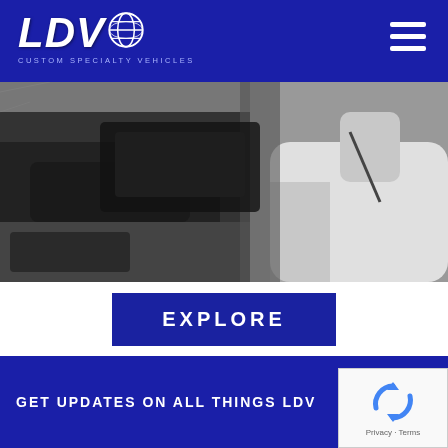[Figure (logo): LDV Custom Specialty Vehicles logo with globe icon on dark blue navigation bar, with hamburger menu icon on the right]
[Figure (photo): Black and white photo of a person in a white shirt near a vehicle interior/exterior]
EXPLORE
GET UPDATES ON ALL THINGS LDV
[Figure (other): reCAPTCHA badge with rotating arrows icon and Privacy/Terms links]